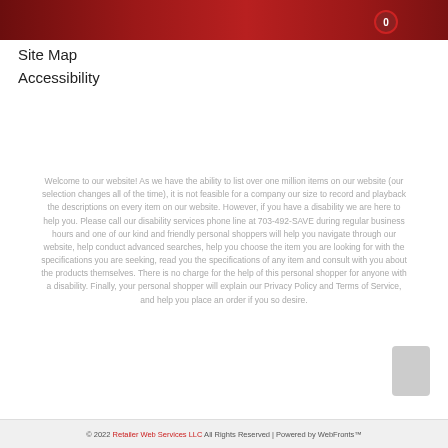0
Site Map
Accessibility
Welcome to our website! As we have the ability to list over one million items on our website (our selection changes all of the time), it is not feasible for a company our size to record and playback the descriptions on every item on our website. However, if you have a disability we are here to help you. Please call our disability services phone line at 703-492-SAVE during regular business hours and one of our kind and friendly personal shoppers will help you navigate through our website, help conduct advanced searches, help you choose the item you are looking for with the specifications you are seeking, read you the specifications of any item and consult with you about the products themselves. There is no charge for the help of this personal shopper for anyone with a disability. Finally, your personal shopper will explain our Privacy Policy and Terms of Service, and help you place an order if you so desire.
© 2022 Retailer Web Services LLC All Rights Reserved | Powered by WebFronts™